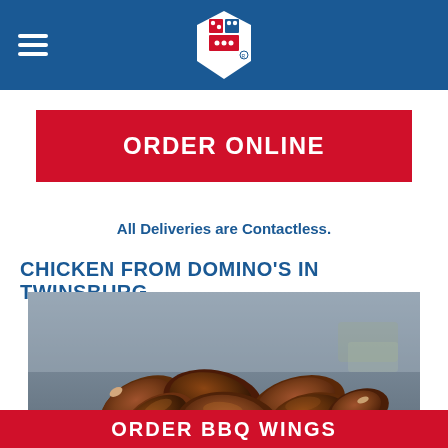Domino's Pizza — Navigation header with logo
ORDER ONLINE
All Deliveries are Contactless.
CHICKEN FROM DOMINO'S IN TWINSBURG
[Figure (photo): Photo of BBQ chicken wings piled on aluminum foil on a metal tray]
ORDER BBQ WINGS